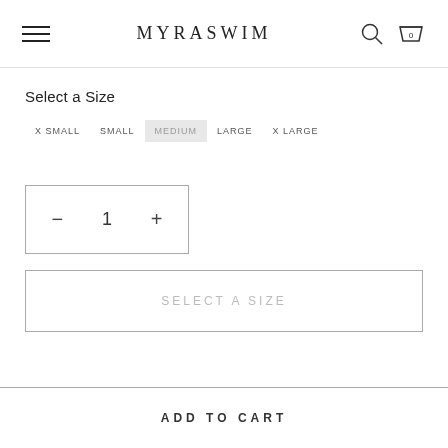MYRASWIM
Select a Size
X SMALL
SMALL
MEDIUM
LARGE
X LARGE
− 1 +
SELECT A SIZE
ADD TO CART